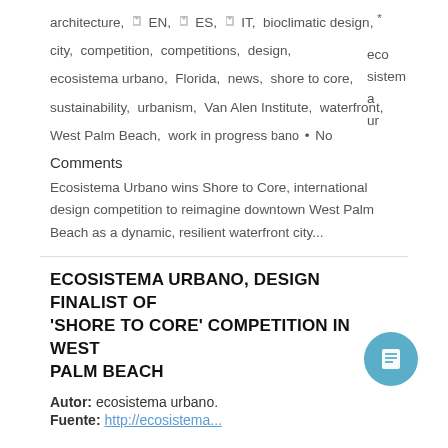architecture, ⊳ EN, ⊳ ES, ⊳ IT, bioclimatic design, * city, competition, competitions, design, ecosistema urbano, Florida, news, shore to core, sustainability, urbanism, Van Alen Institute, waterfront, West Palm Beach, work in progress ecosistema urbano • No Comments
Ecosistema Urbano wins Shore to Core, international design competition to reimagine downtown West Palm Beach as a dynamic, resilient waterfront city...
ECOSISTEMA URBANO, DESIGN FINALIST OF 'SHORE TO CORE' COMPETITION IN WEST PALM BEACH
Autor: ecosistema urbano.
Fuente: http://ecosistema...